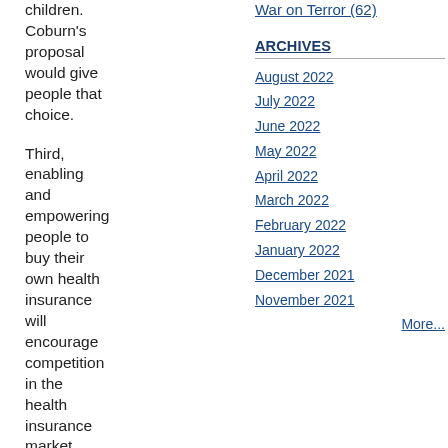children. Coburn's proposal would give people that choice.
Third, enabling and empowering people to buy their own health insurance will encourage competition in the health insurance market, and competition
War on Terror (62)
ARCHIVES
August 2022
July 2022
June 2022
May 2022
April 2022
March 2022
February 2022
January 2022
December 2021
November 2021
More...